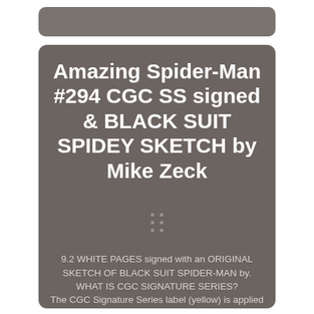Amazing Spider-Man #294 CGC SS signed & BLACK SUIT SPIDEY SKETCH by Mike Zeck
9.2 WHITE PAGES signed with an ORIGINAL SKETCH OF BLACK SUIT SPIDER-MAN by. WHAT IS CGC SIGNATURE SERIES?
The CGC Signature Series label (yellow) is applied to comic books that have been signed by someone of significance and we were wondering about its